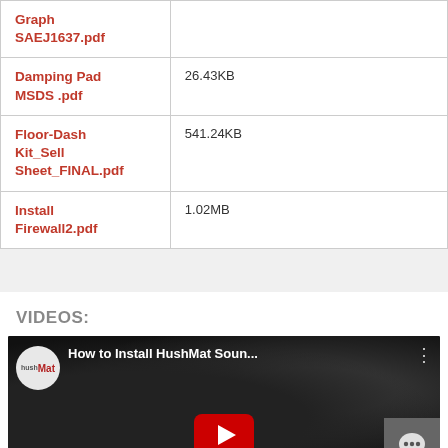| Filename | Size |
| --- | --- |
| Graph SAEJ1637.pdf |  |
| Damping Pad MSDS .pdf | 26.43KB |
| Floor-Dash Kit_Sell Sheet_FINAL.pdf | 541.24KB |
| Install Firewall2.pdf | 1.02MB |
VIDEOS:
[Figure (screenshot): YouTube video thumbnail showing HushMat logo and title 'How to Install HushMat Soun...' with play button overlay on dark automotive interior background]